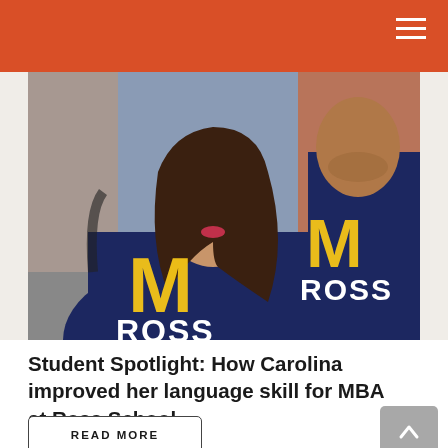[Figure (photo): Two people wearing University of Michigan Ross School of Business navy blue t-shirts with the large gold 'M' and 'ROSS' text. A woman with long dark hair is in the foreground smiling, and a man is partially visible behind her. They are standing outdoors near a brick building.]
Student Spotlight: How Carolina improved her language skill for MBA at Ross School
READ MORE